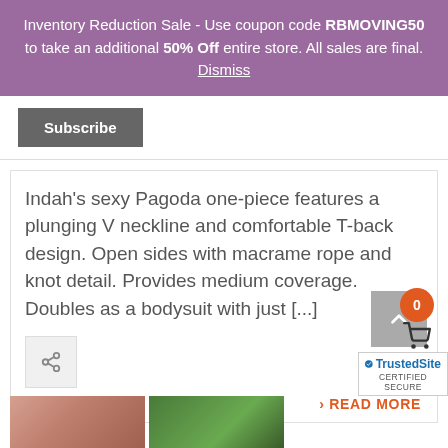Inventory Reduction Sale - Use coupon code RBMOVING50 to take an additional 50% Off entire store. All sales are final. Dismiss
Subscribe
Indah's sexy Pagoda one-piece features a plunging V neckline and comfortable T-back design. Open sides with macrame rope and knot detail. Provides medium coverage. Doubles as a bodysuit with just [...]
› READ MORE